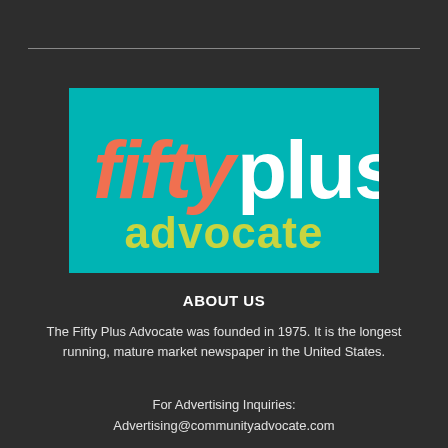[Figure (logo): Fifty Plus Advocate logo on teal/cyan background. 'fifty' in coral/salmon italic bold font, 'plus' in white bold font, 'advocate' in yellow-green bold font below.]
ABOUT US
The Fifty Plus Advocate was founded in 1975. It is the longest running, mature market newspaper in the United States.
For Advertising Inquiries:
Advertising@communityadvocate.com